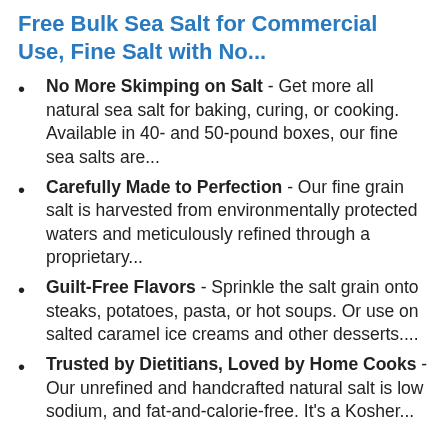Free Bulk Sea Salt for Commercial Use, Fine Salt with No...
No More Skimping on Salt - Get more all natural sea salt for baking, curing, or cooking. Available in 40- and 50-pound boxes, our fine sea salts are...
Carefully Made to Perfection - Our fine grain salt is harvested from environmentally protected waters and meticulously refined through a proprietary...
Guilt-Free Flavors - Sprinkle the salt grain onto steaks, potatoes, pasta, or hot soups. Or use on salted caramel ice creams and other desserts....
Trusted by Dietitians, Loved by Home Cooks - Our unrefined and handcrafted natural salt is low sodium, and fat-and-calorie-free. It's a Kosher...